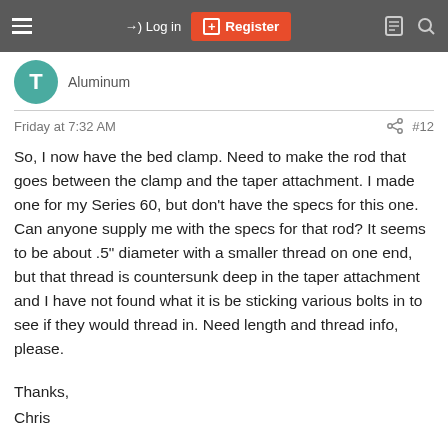Log in  Register
Aluminum
Friday at 7:32 AM  #12
So, I now have the bed clamp. Need to make the rod that goes between the clamp and the taper attachment. I made one for my Series 60, but don't have the specs for this one. Can anyone supply me with the specs for that rod? It seems to be about .5" diameter with a smaller thread on one end, but that thread is countersunk deep in the taper attachment and I have not found what it is be sticking various bolts in to see if they would thread in. Need length and thread info, please.
Thanks,
Chris